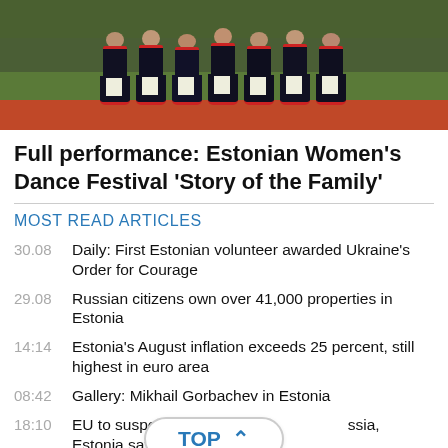[Figure (photo): Group of women in traditional Estonian black and white folk costumes performing at an outdoor venue with a red running track visible at the bottom.]
Full performance: Estonian Women's Dance Festival 'Story of the Family'
MOST READ ARTICLES
30.08 Daily: First Estonian volunteer awarded Ukraine's Order for Courage
29.08 Russian citizens own over 41,000 properties in Estonia
14:14 Estonia's August inflation exceeds 25 percent, still highest in euro area
08:42 Gallery: Mikhail Gorbachev in Estonia
18:10 EU to suspend visa agreements with Russia, Estonia says it's not enough
11:34 Ministry publicly lists firms applying for